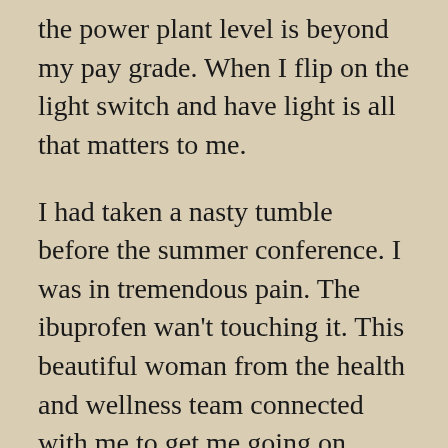the power plant level is beyond my pay grade. When I flip on the light switch and have light is all that matters to me.
I had taken a nasty tumble before the summer conference. I was in tremendous pain. The ibuprofen wan't touching it. This beautiful woman from the health and wellness team connected with me to get me going on some remedies. It took about a day and a half to start working. It was shocking how much better I felt because I really didn't believe it would work.(We didn't have time for an in-depth interview either. Besides, it